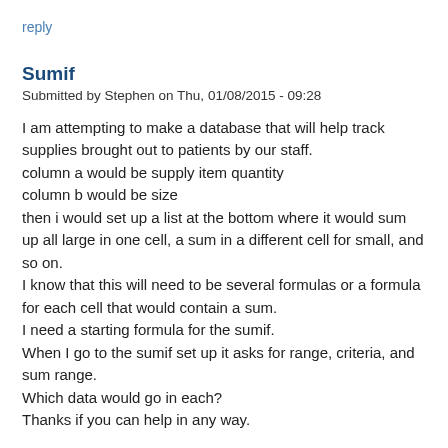reply
Sumif
Submitted by Stephen on Thu, 01/08/2015 - 09:28
I am attempting to make a database that will help track supplies brought out to patients by our staff.
column a would be supply item quantity
column b would be size
then i would set up a list at the bottom where it would sum up all large in one cell, a sum in a different cell for small, and so on.
I know that this will need to be several formulas or a formula for each cell that would contain a sum.
I need a starting formula for the sumif.
When I go to the sumif set up it asks for range, criteria, and sum range.
Which data would go in each?
Thanks if you can help in any way.